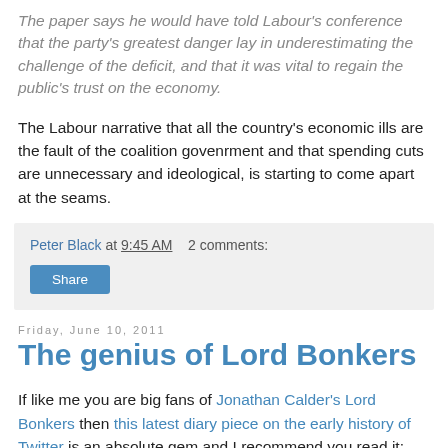The paper says he would have told Labour's conference that the party's greatest danger lay in underestimating the challenge of the deficit, and that it was vital to regain the public's trust on the economy.
The Labour narrative that all the country's economic ills are the fault of the coalition govenrment and that spending cuts are unnecessary and ideological, is starting to come apart at the seams.
Peter Black at 9:45 AM   2 comments:
Share
Friday, June 10, 2011
The genius of Lord Bonkers
If like me you are big fans of Jonathan Calder's Lord Bonkers then this latest diary piece on the early history of Twitter is an absolute gem and I recommend you read it: